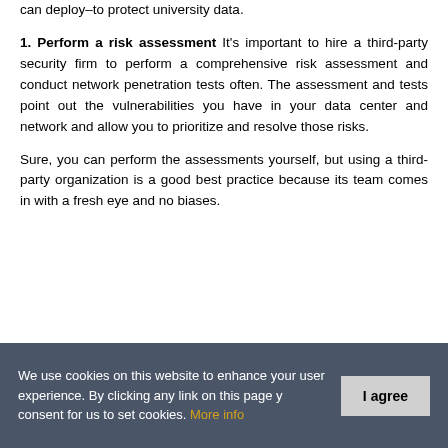can deploy–to protect university data.
1. Perform a risk assessment It's important to hire a third-party security firm to perform a comprehensive risk assessment and conduct network penetration tests often. The assessment and tests point out the vulnerabilities you have in your data center and network and allow you to prioritize and resolve those risks.
Sure, you can perform the assessments yourself, but using a third-party organization is a good best practice because its team comes in with a fresh eye and no biases.
We use cookies on this website to enhance your user experience. By clicking any link on this page you give your consent for us to set cookies. More info